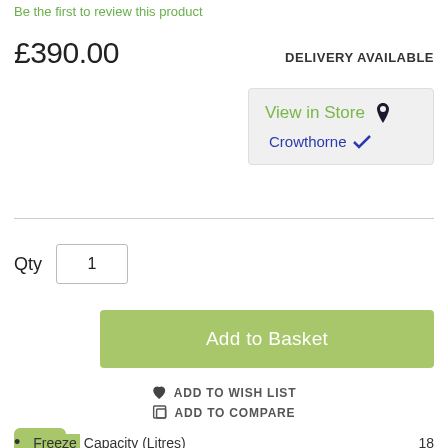Be the first to review this product
£390.00
DELIVERY AVAILABLE
View in Store 📍
Crowthorne ✓
Qty  1
Add to Basket
ADD TO WISH LIST
ADD TO COMPARE
Freeze Capacity (Litres)  18
Fridge Capacity (Litres)  108